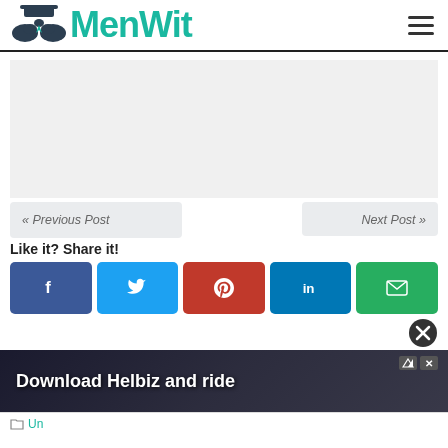[Figure (logo): MenWit website logo with mustache icon and teal text]
[Figure (other): Hamburger menu icon (three horizontal lines)]
[Figure (other): Gray advertisement placeholder area]
« Previous Post
Next Post »
Like it? Share it!
[Figure (other): Social share buttons: Facebook (blue), Twitter (light blue), Pinterest (red), LinkedIn (dark blue), Email (green)]
[Figure (other): Black circle with X close button]
[Figure (photo): Advertisement banner showing bike handlebar with text 'Download Helbiz and ride']
Uncategorized